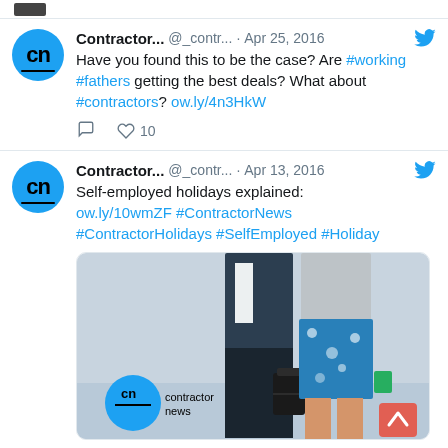[Figure (screenshot): Partial top of a tweet card showing a dark image stub at the top]
Contractor... @_contr... · Apr 25, 2016
Have you found this to be the case? Are #working #fathers getting the best deals? What about #contractors? ow.ly/4n3HkW
♡ 10
Contractor... @_contr... · Apr 13, 2016
Self-employed holidays explained:
ow.ly/10wmZF #ContractorNews #ContractorHolidays #SelfEmployed #Holiday
[Figure (photo): Image showing two people side by side: one in business suit trousers with a briefcase, one in blue floral shorts on a beach. Contractor News logo in bottom left.]